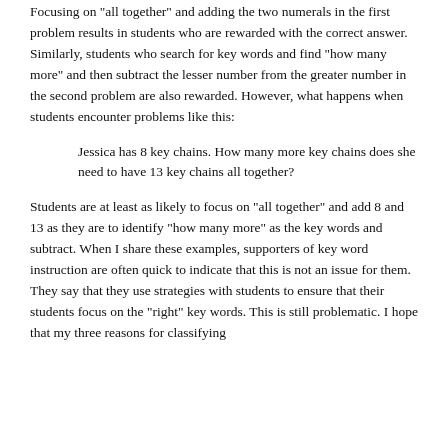Focusing on "all together" and adding the two numerals in the first problem results in students who are rewarded with the correct answer.  Similarly, students who search for key words and find "how many more" and then subtract the lesser number from the greater number in the second problem are also rewarded.  However, what happens when students encounter problems like this:
Jessica has 8 key chains. How many more key chains does she need to have 13 key chains all together?
Students are at least as likely to focus on "all together" and add 8 and 13 as they are to identify "how many more" as the key words and subtract. When I share these examples, supporters of key word instruction are often quick to indicate that this is not an issue for them. They say that they use strategies with students to ensure that their students focus on the "right" key words. This is still problematic. I hope that my three reasons for classifying